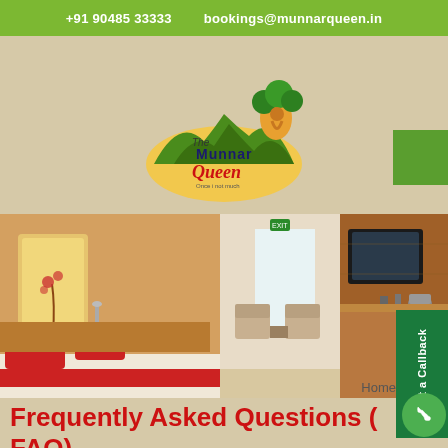+91 90485 33333    bookings@munnarqueen.in
[Figure (logo): The Munnar Queen hotel logo with colorful tree, mountains, and script text]
[Figure (photo): Hotel room interior showing bed with red pillows, seating area, and wooden TV unit]
Home
Frequently Asked Questions ( FAQ)
What are the places of interest in and around Munnar